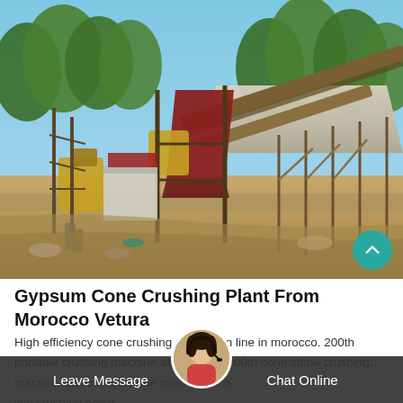[Figure (photo): Industrial gypsum cone crushing plant with conveyor belts, machinery, and gravel piles under a clear sky, surrounded by trees]
Gypsum Cone Crushing Plant From Morocco Vetura
High efficiency cone crushing production line in morocco. 200th portable crushing machine at morocco. 200th cone stone crushing… machine at morocco stone crushing with low crushing noise
Leave Message   Chat Online